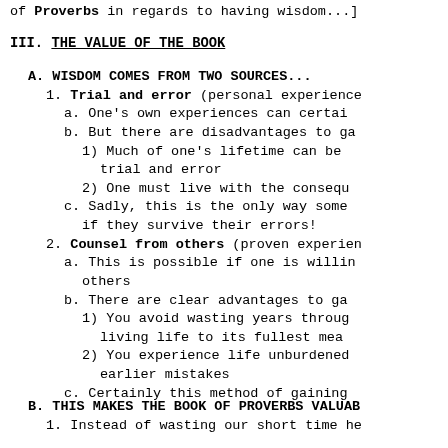of Proverbs in regards to having wisdom...]
III. THE VALUE OF THE BOOK
A. WISDOM COMES FROM TWO SOURCES...
1. Trial and error (personal experience
a. One's own experiences can certain
b. But there are disadvantages to ga
1) Much of one's lifetime can be trial and error
2) One must live with the consequ
c. Sadly, this is the only way some if they survive their errors!
2. Counsel from others (proven experien
a. This is possible if one is willin others
b. There are clear advantages to ga
1) You avoid wasting years through living life to its fullest mea
2) You experience life unburdened earlier mistakes
c. Certainly this method of gaining
B. THIS MAKES THE BOOK OF PROVERBS VALUAB
1. Instead of wasting our short time he